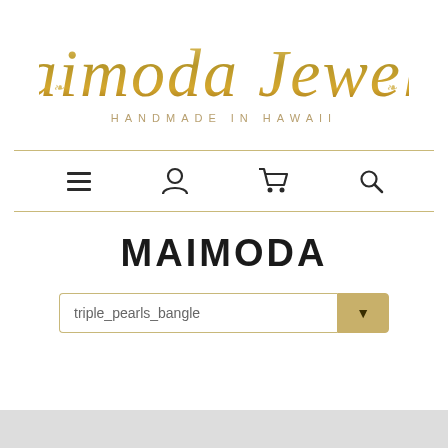[Figure (logo): Maimoda Jewelry script logo in gold calligraphic font with decorative swirls and subtitle HANDMADE IN HAWAII]
[Figure (infographic): Navigation bar with hamburger menu, user account, shopping cart, and search icons]
MAIMODA
triple_pearls_bangle
[Figure (screenshot): Bottom grey bar partially visible at the bottom of the page]